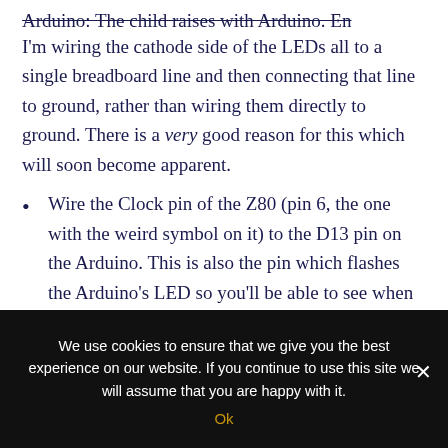I'm wiring the cathode side of the LEDs all to a single breadboard line and then connecting that line to ground, rather than wiring them directly to ground. There is a very good reason for this which will soon become apparent.
Wire the Clock pin of the Z80 (pin 6, the one with the weird symbol on it) to the D13 pin on the Arduino. This is also the pin which flashes the Arduino's LED so you'll be able to see when something should be
We use cookies to ensure that we give you the best experience on our website. If you continue to use this site we will assume that you are happy with it.
Ok